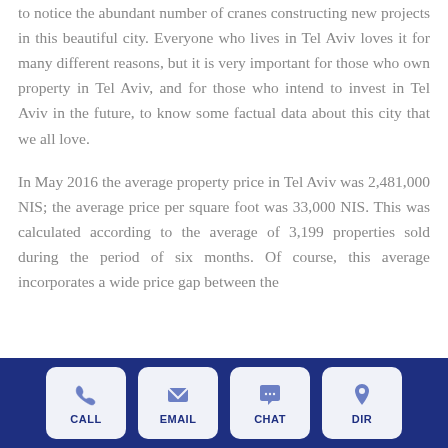to notice the abundant number of cranes constructing new projects in this beautiful city. Everyone who lives in Tel Aviv loves it for many different reasons, but it is very important for those who own property in Tel Aviv, and for those who intend to invest in Tel Aviv in the future, to know some factual data about this city that we all love.
In May 2016 the average property price in Tel Aviv was 2,481,000 NIS; the average price per square foot was 33,000 NIS. This was calculated according to the average of 3,199 properties sold during the period of six months. Of course, this average incorporates a wide price gap between the
CALL | EMAIL | CHAT | DIR